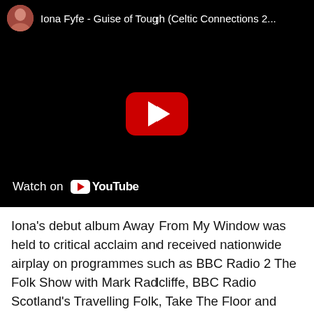[Figure (screenshot): YouTube video embed showing 'Iona Fyfe - Guise of Tough (Celtic Connections 2...' with a black video frame, red YouTube play button in the center, channel avatar in top left, and 'Watch on YouTube' bar at bottom left.]
Iona's debut album Away From My Window was held to critical acclaim and received nationwide airplay on programmes such as BBC Radio 2 The Folk Show with Mark Radcliffe, BBC Radio Scotland's Travelling Folk, Take The Floor and BBC Radio Nan Gaidheal. An exploration of her unique style and songwriting voice, Away From My Window